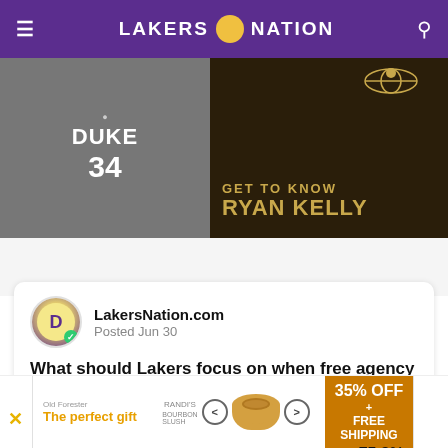LAKERS NATION
[Figure (photo): Split image: left side shows a black and white photo of a basketball player in a Duke #24 jersey; right side shows a dark promotional graphic with text 'GET TO KNOW RYAN KELLY' in gold letters with Lakers logo]
LakersNation.com
Posted Jun 30
What should Lakers focus on when free agency begins?
Debate ended Jul 04
[Figure (bar-chart): What should Lakers focus on when free agency begins?]
[Figure (photo): Advertisement banner: 'The perfect gift' with food bowl imagery and '35% OFF + FREE SHIPPING' offer]